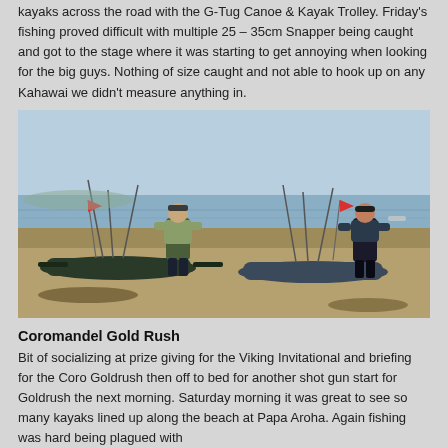kayaks across the road with the G-Tug Canoe & Kayak Trolley. Friday's fishing proved difficult with multiple 25 – 35cm Snapper being caught and got to the stage where it was starting to get annoying when looking for the big guys. Nothing of size caught and not able to hook up on any Kahawai we didn't measure anything in.
[Figure (photo): Two people standing on a beach with fishing kayaks equipped with rods and red safety flags. The sea and a clear sky are visible in the background.]
Coromandel Gold Rush
Bit of socializing at prize giving for the Viking Invitational and briefing for the Coro Goldrush then off to bed for another shot gun start for Goldrush the next morning. Saturday morning it was great to see so many kayaks lined up along the beach at Papa Aroha. Again fishing was hard being plagued with